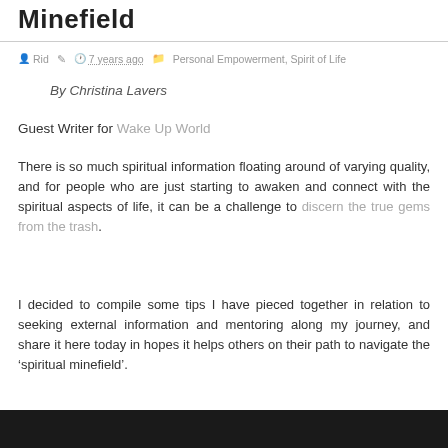Minefield
Rid  7 years ago  Personal Empowerment, Spirit of Life
By Christina Lavers
Guest Writer for Wake Up World
There is so much spiritual information floating around of varying quality, and for people who are just starting to awaken and connect with the spiritual aspects of life, it can be a challenge to discern the true gems from the trash.
I decided to compile some tips I have pieced together in relation to seeking external information and mentoring along my journey, and share it here today in hopes it helps others on their path to navigate the ‘spiritual minefield’.
[Figure (photo): Dark image strip at bottom of page]